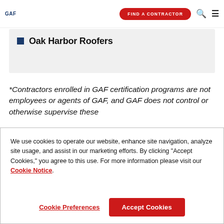GAF | FIND A CONTRACTOR
Oak Harbor Roofers
*Contractors enrolled in GAF certification programs are not employees or agents of GAF, and GAF does not control or otherwise supervise these
We use cookies to operate our website, enhance site navigation, analyze site usage, and assist in our marketing efforts. By clicking "Accept Cookies," you agree to this use. For more information please visit our Cookie Notice.
Cookie Preferences | Accept Cookies